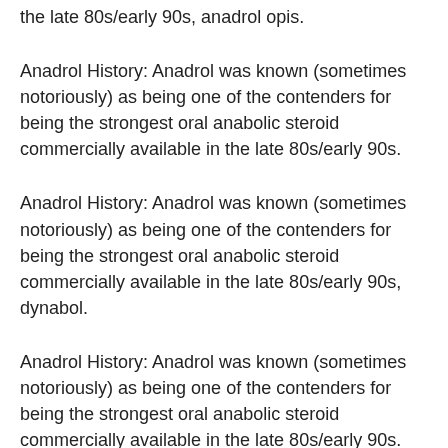the late 80s/early 90s, anadrol opis.
Anadrol History: Anadrol was known (sometimes notoriously) as being one of the contenders for being the strongest oral anabolic steroid commercially available in the late 80s/early 90s.
Anadrol History: Anadrol was known (sometimes notoriously) as being one of the contenders for being the strongest oral anabolic steroid commercially available in the late 80s/early 90s, dynabol.
Anadrol History: Anadrol was known (sometimes notoriously) as being one of the contenders for being the strongest oral anabolic steroid commercially available in the late 80s/early 90s.
Anadrol History: Anadrol was known (sometimes notoriously) as being one of the